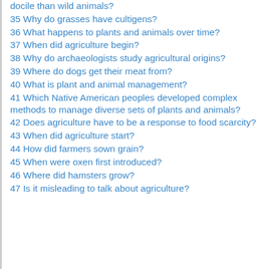docile than wild animals?
35 Why do grasses have cultigens?
36 What happens to plants and animals over time?
37 When did agriculture begin?
38 Why do archaeologists study agricultural origins?
39 Where do dogs get their meat from?
40 What is plant and animal management?
41 Which Native American peoples developed complex methods to manage diverse sets of plants and animals?
42 Does agriculture have to be a response to food scarcity?
43 When did agriculture start?
44 How did farmers sown grain?
45 When were oxen first introduced?
46 Where did hamsters grow?
47 Is it misleading to talk about agriculture?